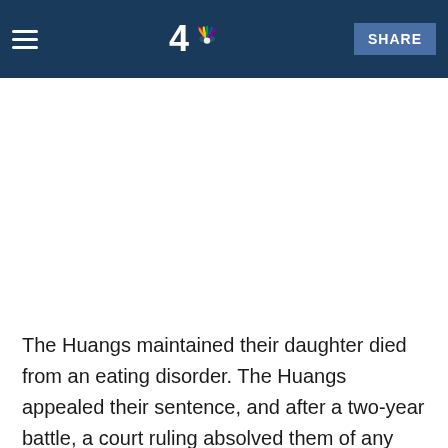daughter. Gloria by starving her and also of obtaining at three of her children through trafficking.
The Huangs maintained their daughter died from an eating disorder. The Huangs appealed their sentence, and after a two-year battle, a court ruling absolved them of any wrongdoing in the death of their child.